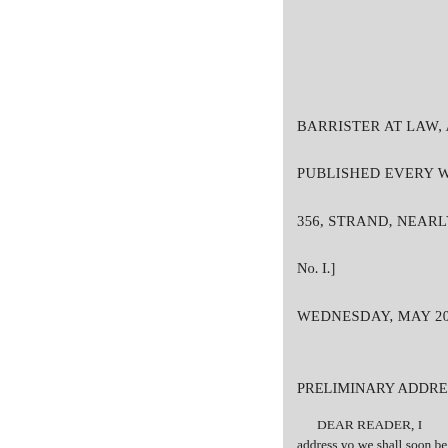BARRISTER AT LAW, AND
PUBLISHED EVERY WEDN
356, STRAND, NEARLY OPP
No. I.]
WEDNESDAY, MAY 20, 183
PRELIMINARY ADDRESS.
DEAR READER, I address yo we shall soon be on intimate term acquaintance, from a belief that i interesting stimulus to my faculti alterative diet of sound and comf
It is my purpose to treat, as fo